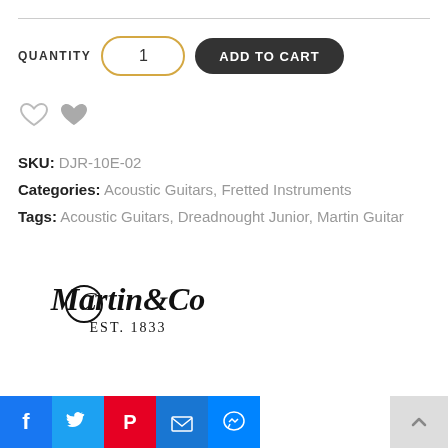QUANTITY  1  ADD TO CART
[Figure (illustration): Heart icons - one outline, one filled gray]
SKU: DJR-10E-02
Categories: Acoustic Guitars, Fretted Instruments
Tags: Acoustic Guitars, Dreadnought Junior, Martin Guitar
[Figure (logo): CF Martin & Co EST. 1833 logo in script font]
[Figure (infographic): Social share buttons: Facebook, Twitter, Pinterest, Email, Messenger]